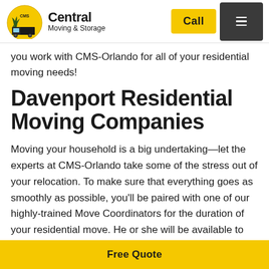Central Moving & Storage — Call | Menu
you work with CMS-Orlando for all of your residential moving needs!
Davenport Residential Moving Companies
Moving your household is a big undertaking—let the experts at CMS-Orlando take some of the stress out of your relocation. To make sure that everything goes as smoothly as possible, you'll be paired with one of our highly-trained Move Coordinators for the duration of your residential move. He or she will be available to address any questions or concerns you may have, help you select the right services to meet your needs and oversee the rest of the CMS-Orlando staff on the big day. Some addition benefits
Free Quote